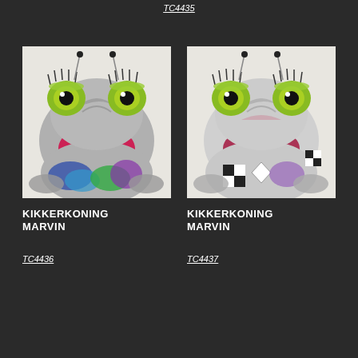TC4435
[Figure (photo): Colorful decorative frog figurine (Kikkerkoning Marvin) with silver body, green eyes with eyelashes, red/pink mouth, and colorful painted patterns in blue, green, and purple.]
[Figure (photo): Colorful decorative frog figurine (Kikkerkoning Marvin) with silver and white body, green eyes with eyelashes, dark pink mouth, and geometric black/white/purple patterns.]
KIKKERKONING MARVIN
TC4436
KIKKERKONING MARVIN
TC4437